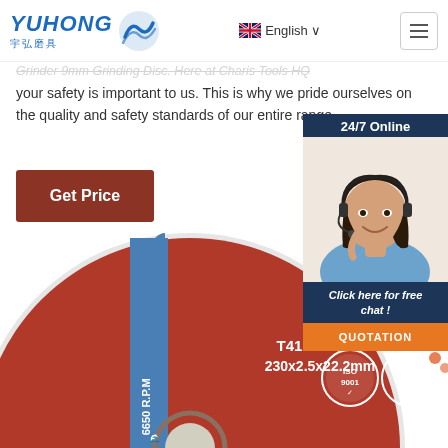YUHONG 宇弘磨具 — English navigation header
Grinder 9mm Grinding Disc. Here at Charis Tools HQ your safety is important to us. This is why we pride ourselves on the quality and safety standards of our entire range.
Get Price
[Figure (infographic): 24/7 Online chat widget with a photo of a woman with headset and 'Click here for free chat!' and QUOTATION button]
[Figure (photo): 9-inch grinding disc labeled T41 A46SBF 230x2.5x22.2mm, R.P.M 6650, with ISO 9001 and MPA tested logos in red and blue]